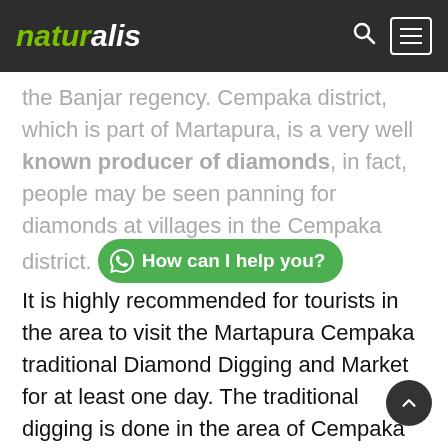naturalis
the Banjar regency. Cempaka district, which is part of Martapura, is a very well known producer of diamonds, in fact, people may be seen panning for diamonds at villages in the Cempaka district.
It is highly recommended for tourists in the area to visit the Martapura Cempaka traditional Diamond Digging and Market for at least one day. The traditional digging is done in the area of Cempaka and Martapura including a local market of stones and diamonds. Rainforest and traditional farming of coconut, pepper, and